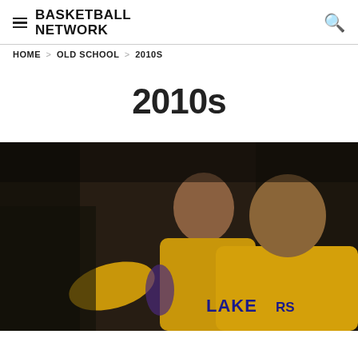BASKETBALL NETWORK
HOME > OLD SCHOOL > 2010s
2010s
[Figure (photo): Two Los Angeles Lakers basketball players in yellow jerseys on a dark arena background. One player in the foreground faces right, and another player behind him faces left. Both wear gold Lakers uniforms.]